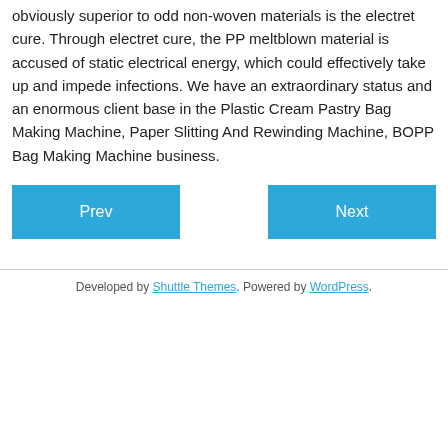obviously superior to odd non-woven materials is the electret cure. Through electret cure, the PP meltblown material is accused of static electrical energy, which could effectively take up and impede infections. We have an extraordinary status and an enormous client base in the Plastic Cream Pastry Bag Making Machine, Paper Slitting And Rewinding Machine, BOPP Bag Making Machine business.
Prev | Next (navigation buttons)
Developed by Shuttle Themes. Powered by WordPress.